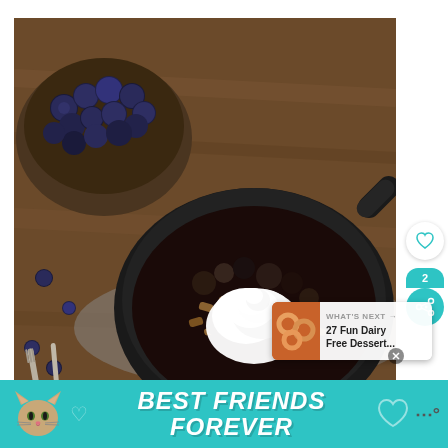[Figure (photo): Overhead view of a cast iron skillet with blueberry crisp topped with whipped cream, next to a wooden bowl of fresh blueberries and two forks on a wooden surface]
[Figure (infographic): What's Next panel showing a thumbnail of circular foods and text '27 Fun Dairy Free Dessert...']
[Figure (infographic): Teal banner advertisement with cat photo and text 'BEST FRIENDS FOREVER' with heart icons]